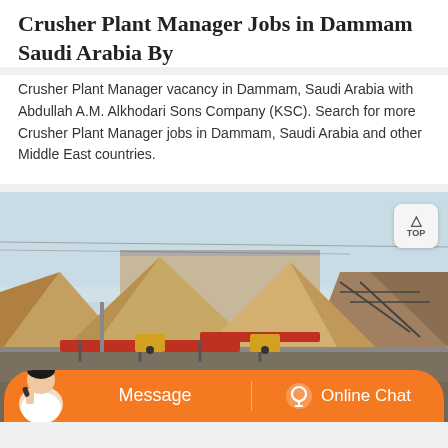Crusher Plant Manager Jobs in Dammam Saudi Arabia By
Crusher Plant Manager vacancy in Dammam, Saudi Arabia with Abdullah A.M. Alkhodari Sons Company (KSC). Search for more Crusher Plant Manager jobs in Dammam, Saudi Arabia and other Middle East countries.
[Figure (photo): Photograph of a crusher plant facility showing large pyramidal aggregate piles, industrial conveyor belts in red and black, structural steel framework, and machinery under a pale blue sky.]